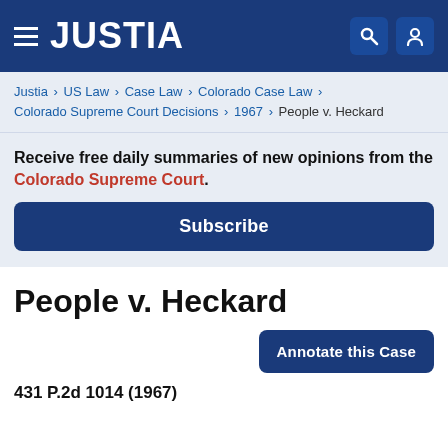JUSTIA
Justia › US Law › Case Law › Colorado Case Law › Colorado Supreme Court Decisions › 1967 › People v. Heckard
Receive free daily summaries of new opinions from the Colorado Supreme Court.
Subscribe
People v. Heckard
Annotate this Case
431 P.2d 1014 (1967)